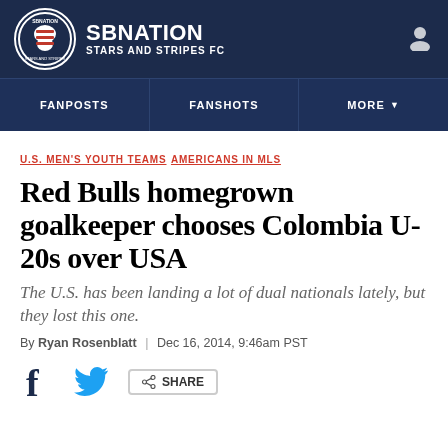SB NATION — STARS AND STRIPES FC
U.S. MEN'S YOUTH TEAMS  AMERICANS IN MLS
Red Bulls homegrown goalkeeper chooses Colombia U-20s over USA
The U.S. has been landing a lot of dual nationals lately, but they lost this one.
By Ryan Rosenblatt | Dec 16, 2014, 9:46am PST